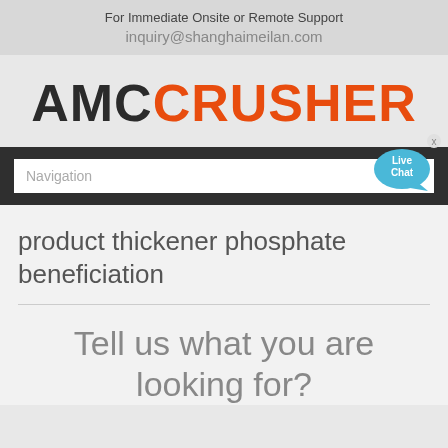For Immediate Onsite or Remote Support
inquiry@shanghaimeilan.com
[Figure (logo): AMC CRUSHER logo — AMC in dark charcoal bold, CRUSHER in orange bold]
[Figure (screenshot): Navigation search bar with Live Chat bubble in top right corner]
product thickener phosphate beneficiation
Tell us what you are looking for?